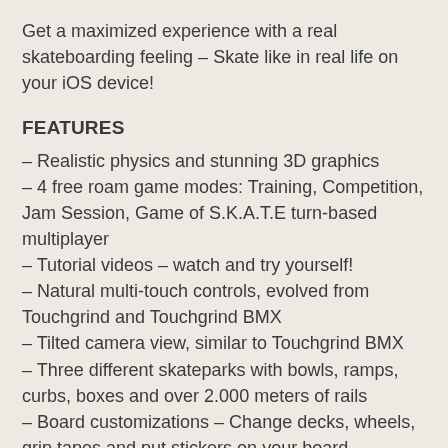Get a maximized experience with a real skateboarding feeling – Skate like in real life on your iOS device!
FEATURES
– Realistic physics and stunning 3D graphics
– 4 free roam game modes: Training, Competition, Jam Session, Game of S.K.A.T.E turn-based multiplayer
– Tutorial videos – watch and try yourself!
– Natural multi-touch controls, evolved from Touchgrind and Touchgrind BMX
– Tilted camera view, similar to Touchgrind BMX
– Three different skateparks with bowls, ramps, curbs, boxes and over 2.000 meters of rails
– Board customizations – Change decks, wheels, grip tapes and put stickers on your board
– Complete the 100 challenges to unlock all skateparks, game modes, decks, wheels, grip tapes and stickers